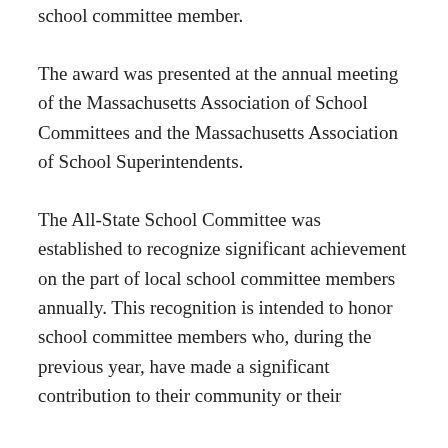for his clear understanding of his role as a school committee member.
The award was presented at the annual meeting of the Massachusetts Association of School Committees and the Massachusetts Association of School Superintendents.
The All-State School Committee was established to recognize significant achievement on the part of local school committee members annually. This recognition is intended to honor school committee members who, during the previous year, have made a significant contribution to their community or their